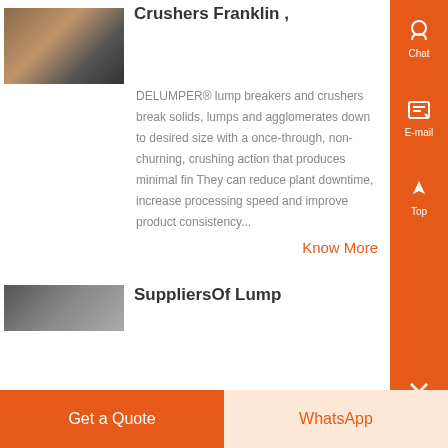[Figure (photo): Thumbnail photo of a lump breaker/crusher machine in industrial setting]
Crushers Franklin ,
DELUMPER® lump breakers and crushers break solids, lumps and agglomerates down to desired size with a once-through, non-churning, crushing action that produces minimal fin They can reduce plant downtime, increase processing speed and improve product consistency...
Know More
[Figure (photo): Thumbnail photo of lump breaker equipment]
SuppliersOf Lump
Get a Quote
WhatsApp